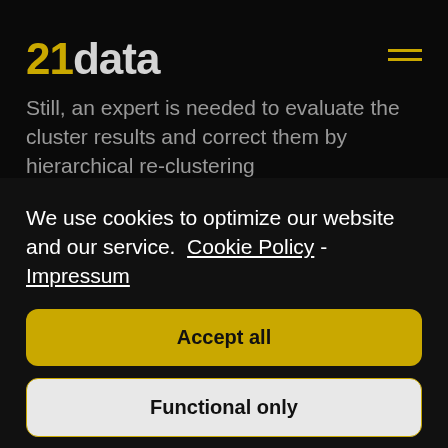21data
Still, an expert is needed to evaluate the cluster results and correct them by hierarchical re-clustering
We use cookies to optimize our website and our service. Cookie Policy - Impressum
Accept all
Functional only
View preferences